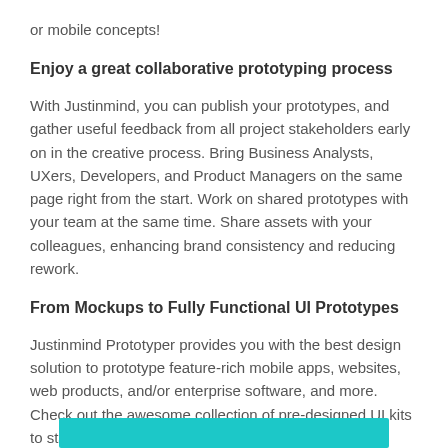or mobile concepts!
Enjoy a great collaborative prototyping process
With Justinmind, you can publish your prototypes, and gather useful feedback from all project stakeholders early on in the creative process. Bring Business Analysts, UXers, Developers, and Product Managers on the same page right from the start. Work on shared prototypes with your team at the same time. Share assets with your colleagues, enhancing brand consistency and reducing rework.
From Mockups to Fully Functional UI Prototypes
Justinmind Prototyper provides you with the best design solution to prototype feature-rich mobile apps, websites, web products, and/or enterprise software, and more. Check out the awesome collection of pre-designed UI kits to start prototyping right away.
[Figure (other): Teal/cyan colored bar or banner element at the bottom of the page]